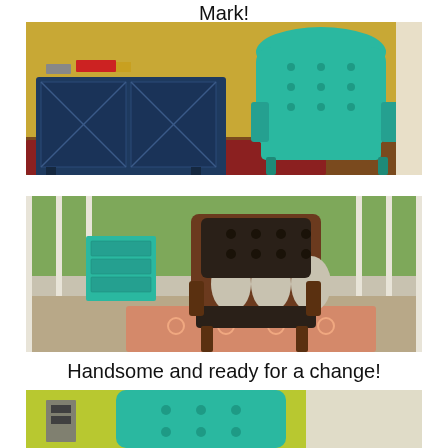Mark!
[Figure (photo): A teal/turquoise tufted armchair with ornate carved frame next to a navy blue mirrored cabinet, on a red patterned rug against a yellow wall]
[Figure (photo): A brown wooden armchair with dark tufted leather upholstery, photographed on a porch with a teal dresser visible in the background]
Handsome and ready for a change!
[Figure (photo): Partial view of a teal/turquoise tufted chair seat and frame against a yellow-green wall]